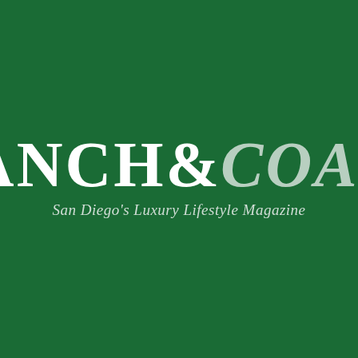[Figure (logo): Ranch & Coast magazine logo on dark green background. Large bold serif text 'RANCH&COAST' with 'RANCH&' in white and 'COAST' in light gray/silver italic. Below is the tagline 'San Diego's Luxury Lifestyle Magazine' in lighter italic serif text.]
RANCH&COAST
San Diego's Luxury Lifestyle Magazine